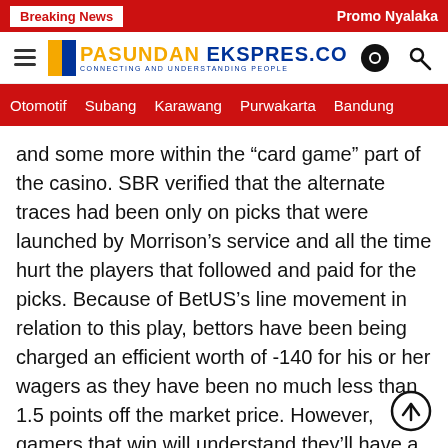Breaking News | Promo Nyalaka
[Figure (logo): Pasundan Ekspres.co logo with tagline CONNECTING AND UNDERSTANDING PEOPLE, hamburger menu icon, contrast icon, and search icon]
Otomotif | Subang | Karawang | Purwakarta | Bandung
and some more within the “card game” part of the casino. SBR verified that the alternate traces had been only on picks that were launched by Morrison’s service and all the time hurt the players that followed and paid for the picks. Because of BetUS’s line movement in relation to this play, bettors have been being charged an efficient worth of -140 for his or her wagers as they have been no much less than 1.5 points off the market price. However, gamers that win will understand they’ll have a hard time accumulating their cash from BetUS. .